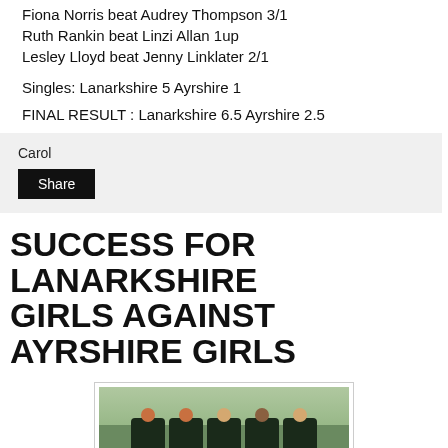Fiona Norris beat Audrey Thompson 3/1
Ruth Rankin beat Linzi Allan 1up
Lesley Lloyd beat Jenny Linklater 2/1
Singles: Lanarkshire 5 Ayrshire 1
FINAL RESULT : Lanarkshire 6.5 Ayrshire 2.5
Carol
Share
SUCCESS FOR LANARKSHIRE GIRLS AGAINST AYRSHIRE GIRLS
[Figure (photo): Group photo of five young women in dark golf uniforms standing on a golf course with trees in the background]